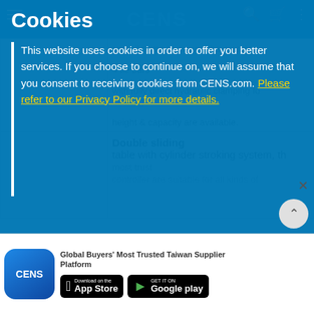CENS
Cookies
This website uses cookies in order to offer you better services. If you choose to continue on, we will assume that you consent to receiving cookies from CENS.com. Please refer to our Privacy Policy for more details.
OK
and oil pump to ensure the machine
4 tie bars
with fully direct hydraulic clamping for molding
height & capacity are available.
[Figure (photo): Broken image placeholder in table cell]
Double sliding
table with cylinder stroking system, th
controller are suitable for all kinds of
Global Buyers' Most Trusted Taiwan Supplier Platform — Download on the App Store — GET IT ON Google play